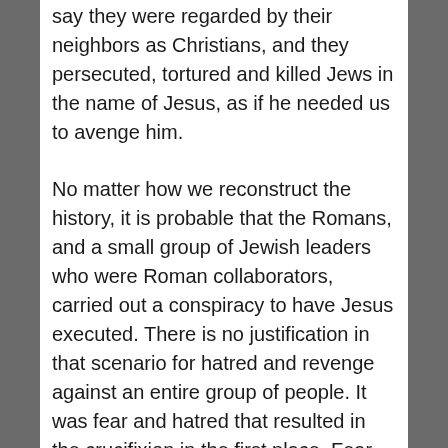say they were regarded by their neighbors as Christians, and they persecuted, tortured and killed Jews in the name of Jesus, as if he needed us to avenge him.
No matter how we reconstruct the history, it is probable that the Romans, and a small group of Jewish leaders who were Roman collaborators, carried out a conspiracy to have Jesus executed. There is no justification in that scenario for hatred and revenge against an entire group of people. It was fear and hatred that resulted in the crucifixion in the first place. Fear and hatred is what drives revenge and persecution. Hatred of any group of people is a manifestation of the same fear and hatred that resulted in the persecution in the first place. Diverting blame onto someone else is the